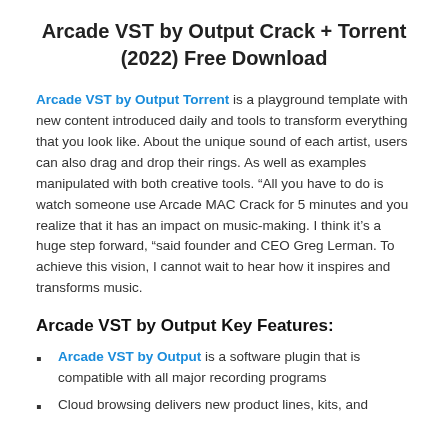Arcade VST by Output Crack + Torrent (2022) Free Download
Arcade VST by Output Torrent is a playground template with new content introduced daily and tools to transform everything that you look like. About the unique sound of each artist, users can also drag and drop their rings. As well as examples manipulated with both creative tools. “All you have to do is watch someone use Arcade MAC Crack for 5 minutes and you realize that it has an impact on music-making. I think it’s a huge step forward, “said founder and CEO Greg Lerman. To achieve this vision, I cannot wait to hear how it inspires and transforms music.
Arcade VST by Output Key Features:
Arcade VST by Output is a software plugin that is compatible with all major recording programs
Cloud browsing delivers new product lines, kits, and